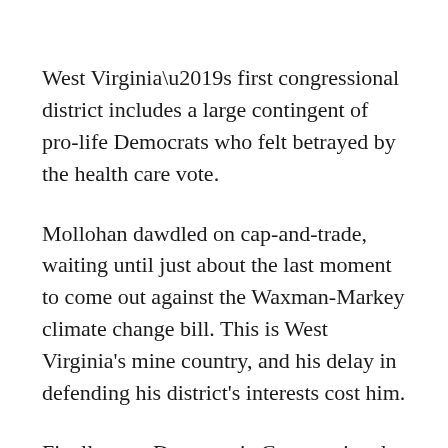West Virginia’s first congressional district includes a large contingent of pro-life Democrats who felt betrayed by the health care vote.
Mollohan dawdled on cap-and-trade, waiting until just about the last moment to come out against the Waxman-Markey climate change bill. This is West Virginia's mine country, and his delay in defending his district's interests cost him.
Finally, as a Democratic Congressional Campaign Committee official said last night, Mollohan did